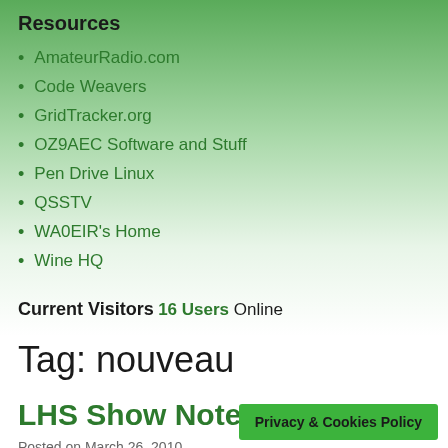Resources
AmateurRadio.com
Code Weavers
GridTracker.org
OZ9AEC Software and Stuff
Pen Drive Linux
QSSTV
WA0EIR's Home
Wine HQ
Current Visitors
16 Users Online
Tag: nouveau
LHS Show Notes #036
Posted on March 26, 2010